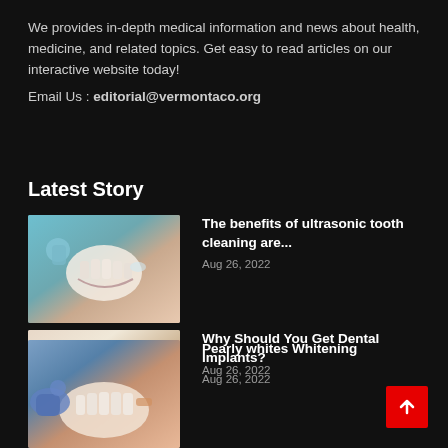We provides in-depth medical information and news about health, medicine, and related topics. Get easy to read articles on our interactive website today!
Email Us : editorial@vermontaco.org
Latest Story
[Figure (photo): Close-up of dental cleaning procedure on teeth]
The benefits of ultrasonic tooth cleaning are...
Aug 26, 2022
[Figure (photo): Close-up of a smile showing missing tooth, dental implant candidate]
Why Should You Get Dental Implants?
Aug 26, 2022
[Figure (photo): Dental whitening procedure being performed]
Pearly whites Whitening
Aug 26, 2022